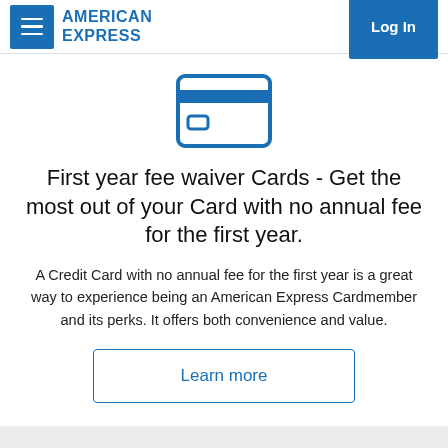AMERICAN EXPRESS | Log In
[Figure (illustration): Blue outline icon of a credit card with a horizontal stripe at top and a small rectangle chip/logo in center]
First year fee waiver Cards - Get the most out of your Card with no annual fee for the first year.
A Credit Card with no annual fee for the first year is a great way to experience being an American Express Cardmember and its perks. It offers both convenience and value.
Learn more